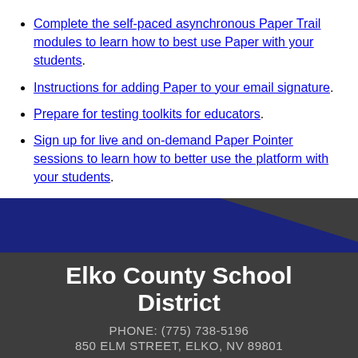Complete the self-paced asynchronous Paper Trail modules to learn how to best use Paper with your students.
Instructions for adding Paper to your email signature.
Prepare for testing toolkits for educators.
Sign up for live and on-demand Paper Pointer sessions to learn how to better use the platform with your students.
[Figure (illustration): Dark navy and grey diagonal accent banner serving as footer top decoration]
Elko County School District
PHONE: (775) 738-5196
850 ELM STREET, ELKO, NV 89801